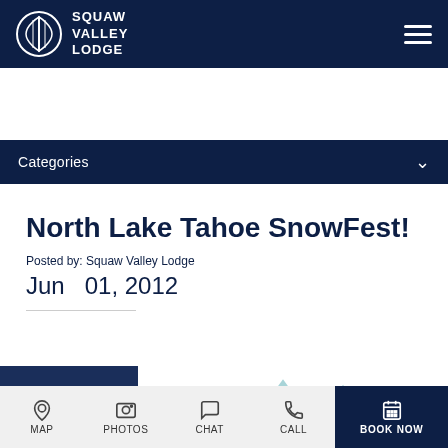Squaw Valley Lodge
Categories
North Lake Tahoe SnowFest!
Posted by: Squaw Valley Lodge
Jun  01, 2012
Cultural Events
MAP  PHOTOS  CHAT  CALL  BOOK NOW